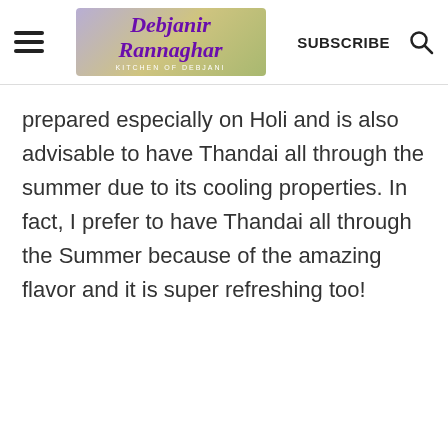Debjanir Rannaghar KITCHEN OF DEBJANI | SUBSCRIBE
prepared especially on Holi and is also advisable to have Thandai all through the summer due to its cooling properties. In fact, I prefer to have Thandai all through the Summer because of the amazing flavor and it is super refreshing too!